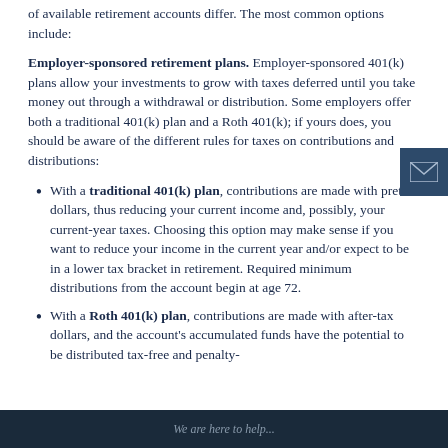of available retirement accounts differ. The most common options include:
Employer-sponsored retirement plans. Employer-sponsored 401(k) plans allow your investments to grow with taxes deferred until you take money out through a withdrawal or distribution. Some employers offer both a traditional 401(k) plan and a Roth 401(k); if yours does, you should be aware of the different rules for taxes on contributions and distributions:
With a traditional 401(k) plan, contributions are made with pretax dollars, thus reducing your current income and, possibly, your current-year taxes. Choosing this option may make sense if you want to reduce your income in the current year and/or expect to be in a lower tax bracket in retirement. Required minimum distributions from the account begin at age 72.
With a Roth 401(k) plan, contributions are made with after-tax dollars, and the account's accumulated funds have the potential to be distributed tax-free and penalty-